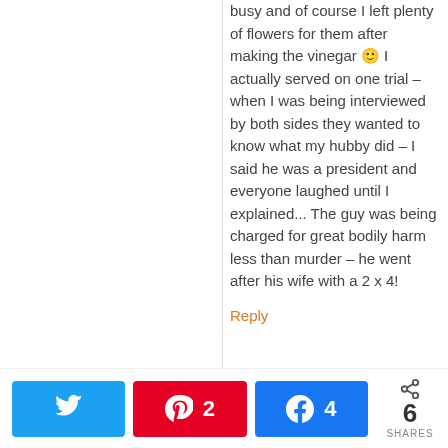busy and of course I left plenty of flowers for them after making the vinegar 🙂 I actually served on one trial – when I was being interviewed by both sides they wanted to know what my hubby did – I said he was a president and everyone laughed until I explained... The guy was being charged for great bodily harm less than murder – he went after his wife with a 2 x 4!
Reply
[Figure (other): Social share bar with Twitter button, Pinterest button showing 2 saves, Facebook button showing 4 shares, and total shares count of 6]